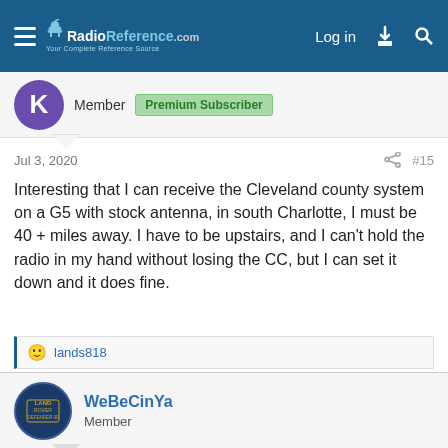RadioReference.com — Log in
Member  Premium Subscriber
Jul 3, 2020  #15
Interesting that I can receive the Cleveland county system on a G5 with stock antenna, in south Charlotte, I must be 40 + miles away. I have to be upstairs, and I can't hold the radio in my hand without losing the CC, but I can set it down and it does fine.
🙂 lands818
WeBeCinYa
Member
Jul 16, 2020  #16
Cleveland county is very directional. I used to pick them up when I lived in Tryon (30 miles away), and I lived up on a hill. I moved to Lake Norman area and I too can pick them up on my